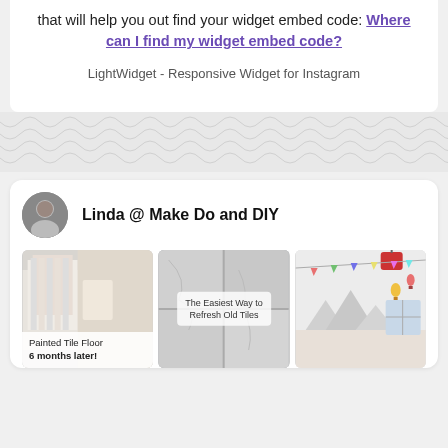that will help you out find your widget embed code: Where can I find my widget embed code?
LightWidget - Responsive Widget for Instagram
[Figure (illustration): Decorative wave pattern divider in light gray]
[Figure (screenshot): Instagram widget card showing profile 'Linda @ Make Do and DIY' with avatar photo and three Instagram post images: 'Painted Tile Floor 6 months later!', 'The Easiest Way to Refresh Old Tiles', and a colorful room photo.]